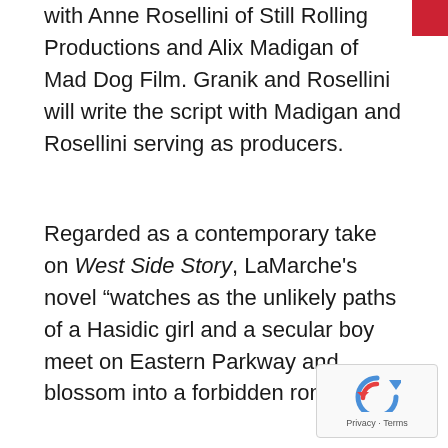with Anne Rosellini of Still Rolling Productions and Alix Madigan of Mad Dog Film. Granik and Rosellini will write the script with Madigan and Rosellini serving as producers.
Regarded as a contemporary take on West Side Story, LaMarche's novel “watches as the unlikely paths of a Hasidic girl and a secular boy meet on Eastern Parkway and blossom into a forbidden romance.”